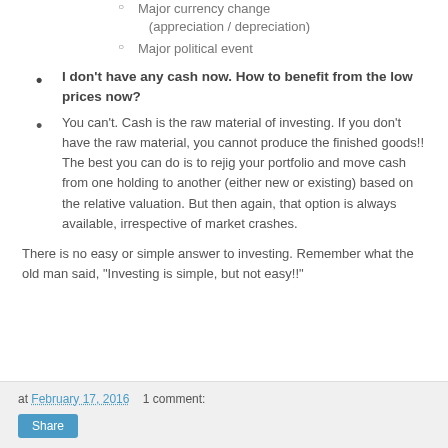Major currency change (appreciation / depreciation)
Major political event
I don't have any cash now. How to benefit from the low prices now?
You can't. Cash is the raw material of investing. If you don't have the raw material, you cannot produce the finished goods!! The best you can do is to rejig your portfolio and move cash from one holding to another (either new or existing) based on the relative valuation. But then again, that option is always available, irrespective of market crashes.
There is no easy or simple answer to investing. Remember what the old man said, "Investing is simple, but not easy!!"
at February 17, 2016    1 comment:    Share